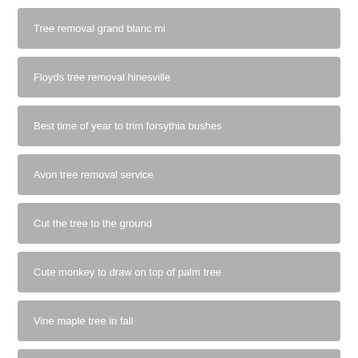Tree removal grand blanc mi
Floyds tree removal hinesville
Best time of year to trim forsythia bushes
Avon tree removal service
Cut the tree to the ground
Cute monkey to draw on top of palm tree
Vine maple tree in fall